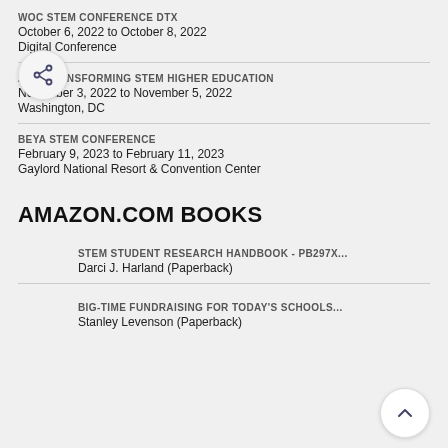WOC STEM CONFERENCE DTX
October 6, 2022 to October 8, 2022
Digital Conference
2022 TRANSFORMING STEM HIGHER EDUCATION
November 3, 2022 to November 5, 2022
Washington, DC
BEYA STEM CONFERENCE
February 9, 2023 to February 11, 2023
Gaylord National Resort & Convention Center
AMAZON.COM BOOKS
STEM STUDENT RESEARCH HANDBOOK - PB297X...
Darci J. Harland (Paperback)
BIG-TIME FUNDRAISING FOR TODAY'S SCHOOLS...
Stanley Levenson (Paperback)